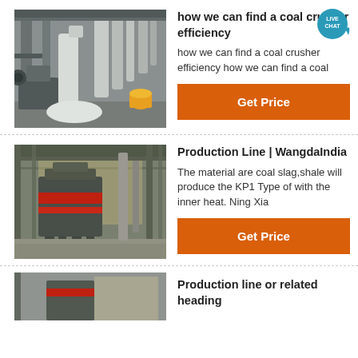[Figure (photo): Industrial facility interior with large equipment, silos, and machinery]
how we can find a coal crusher efficiency
how we can find a coal crusher efficiency how we can find a coal
[Figure (photo): Industrial production line interior with large cylindrical mill equipment]
Production Line | WangdaIndia
The material are coal slag,shale will produce the KP1 Type of with the inner heat. Ning Xia
[Figure (photo): Partial view of industrial machinery or equipment (cut off at bottom)]
Production line or related heading (partially visible)